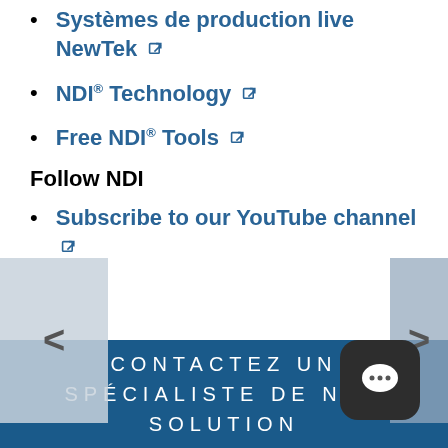Systèmes de production live NewTek
NDI® Technology
Free NDI® Tools
Follow NDI
Subscribe to our YouTube channel
CONTACTEZ UN SPÉCIALISTE DE NOS SOLUTIONS